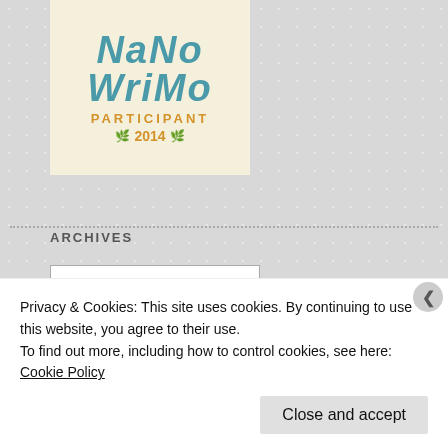[Figure (logo): NaNoWriMo 2014 Participant badge on cream background with teal lettering and gold PARTICIPANT and 2014 text with decorative leaves]
ARCHIVES
[Figure (screenshot): Select Month dropdown menu control]
[Figure (logo): Ebates banner: EBATES where it PAYS TO SHOP ONLINE]
Privacy & Cookies: This site uses cookies. By continuing to use this website, you agree to their use.
To find out more, including how to control cookies, see here: Cookie Policy
Close and accept